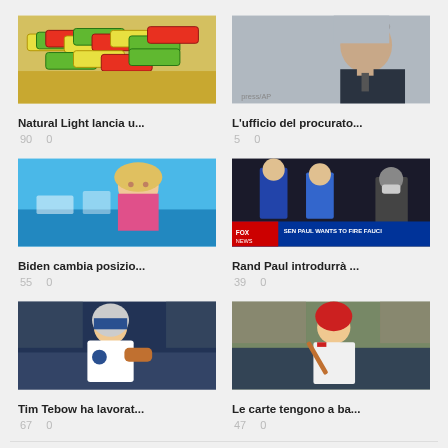[Figure (photo): Colorful candy bars / Natural Light snack products]
Natural Light lancia u...
90   0
[Figure (photo): Older man in suit, side profile, gray-haired politician]
L'ufficio del procurato...
5   0
[Figure (photo): Blonde woman on TV, waterfront background, pink outfit]
Biden cambia posizio...
55   0
[Figure (photo): Fox News screen: SEN PAUL WANTS TO FIRE FAUCI, two men on set]
Rand Paul introdurrà ...
39   0
[Figure (photo): American football player in white Eagles uniform throwing ball]
Tim Tebow ha lavorat...
67   0
[Figure (photo): Baseball player in red Cardinals uniform batting]
Le carte tengono a ba...
47   0